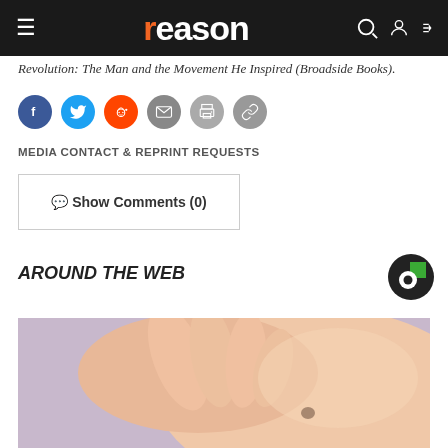reason
Revolution: The Man and the Movement He Inspired (Broadside Books).
[Figure (other): Social sharing icons: Facebook, Twitter, Reddit, Email, Print, Link]
MEDIA CONTACT & REPRINT REQUESTS
Show Comments (0)
AROUND THE WEB
[Figure (logo): Caret/Outbrain logo in top right corner]
[Figure (photo): Close-up photo of hands touching skin with a mole, medical/dermatology context]